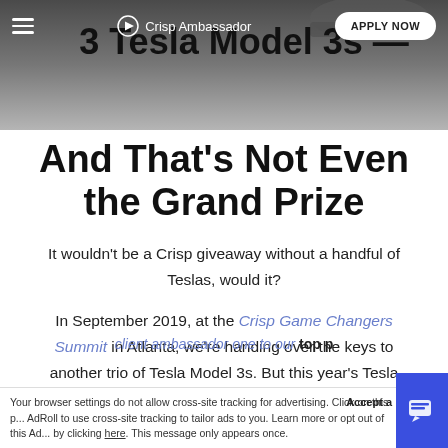[Figure (screenshot): Top image area showing a dark/grey background with a car partially visible, overlaid with navigation bar containing hamburger menu, Crisp Ambassador logo, and APPLY NOW button. Large bold title text '3 Tesla Model 3s' is overlaid on the image.]
3 Tesla Model 3s — And That's Not Even the Grand Prize
It wouldn't be a Crisp giveaway without a handful of Teslas, would it?
In September 2019, at the Crisp Game Changers Summit in Atlanta, we're handing over the keys to another trio of Tesla Model 3s. But this year's Tesla giveaway is unlike anything we've ever done before. This time around, one Model 3 will go to our top client ambassador one to our top p...
Your browser settings do not allow cross-site tracking for advertising. Click on this p... AdRoll to use cross-site tracking to tailor ads to you. Learn more or opt out of this Ad... by clicking here. This message only appears once.